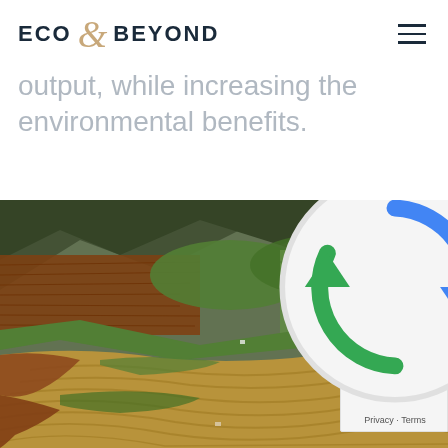ECO & BEYOND
output, while increasing the environmental benefits.
[Figure (photo): Aerial view of colorful terraced rice fields and farmland on hillsides, showing green, gold, red and brown terraces with mountains in the background.]